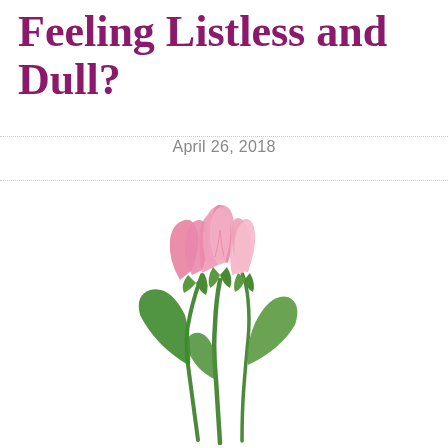Feeling Listless and Dull?
April 26, 2018
[Figure (illustration): Three pink tulips with green stems and leaves on a white background]